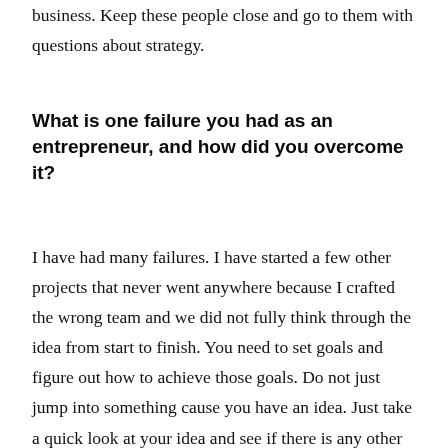business development executive in a related business. Keep these people close and go to them with questions about strategy.
What is one failure you had as an entrepreneur, and how did you overcome it?
I have had many failures. I have started a few other projects that never went anywhere because I crafted the wrong team and we did not fully think through the idea from start to finish. You need to set goals and figure out how to achieve those goals. Do not just jump into something cause you have an idea. Just take a quick look at your idea and see if there is any other people out there